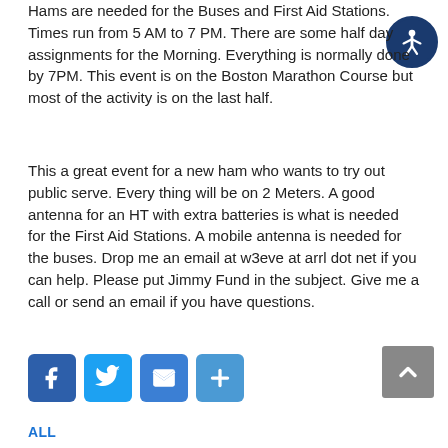Hams are needed for the Buses and First Aid Stations. Times run from 5 AM to 7 PM. There are some half day assignments for the Morning. Everything is normally done by 7PM. This event is on the Boston Marathon Course but most of the activity is on the last half.
This a great event for a new ham who wants to try out public serve. Every thing will be on 2 Meters. A good antenna for an HT with extra batteries is what is needed for the First Aid Stations. A mobile antenna is needed for the buses. Drop me an email at w3eve at arrl dot net if you can help. Please put Jimmy Fund in the subject. Give me a call or send an email if you have questions.
[Figure (infographic): Social media sharing buttons: Facebook (blue), Twitter (blue), Email (blue envelope), Share/Plus (blue)]
[Figure (infographic): Back to top button (grey arrow pointing up)]
ALL